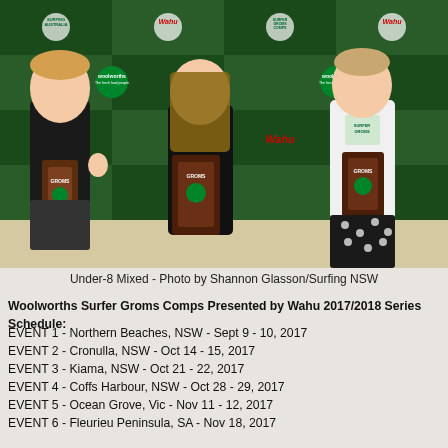[Figure (photo): Three children standing on a beach holding trophy awards. Behind them is a step-and-repeat banner featuring Woolworths, Surfing Australia, Surfer Groms Comps, and Wahu logos. The child on the left is a boy in a black t-shirt, the child in the middle is a girl in a black long-sleeve shirt holding a larger trophy, and the child on the right is a girl in a white t-shirt with black polka-dot pants.]
Under-8 Mixed - Photo by Shannon Glasson/Surfing NSW
Woolworths Surfer Groms Comps Presented by Wahu 2017/2018 Series Schedule:
EVENT 1 - Northern Beaches, NSW - Sept 9 - 10, 2017
EVENT 2 - Cronulla, NSW - Oct 14 - 15, 2017
EVENT 3 - Kiama, NSW - Oct 21 - 22, 2017
EVENT 4 - Coffs Harbour, NSW - Oct 28 - 29, 2017
EVENT 5 - Ocean Grove, Vic - Nov 11 - 12, 2017
EVENT 6 - Fleurieu Peninsula, SA - Nov 18, 2017